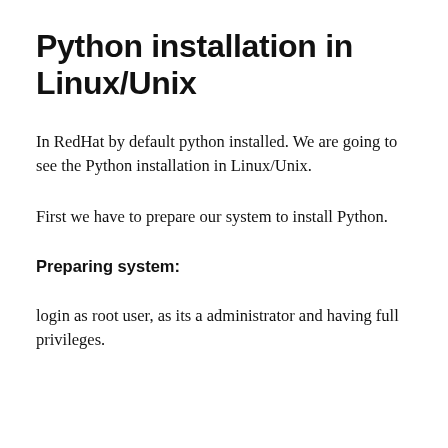Python installation in Linux/Unix
In RedHat by default python installed. We are going to see the Python installation in Linux/Unix.
First we have to prepare our system to install Python.
Preparing system:
login as root user, as its a administrator and having full privileges.